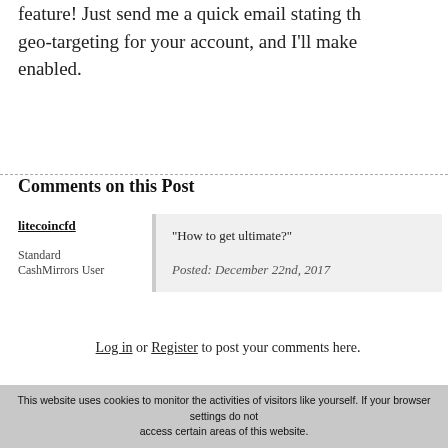feature! Just send me a quick email stating that you want geo-targeting for your account, and I'll make sure it gets enabled.
Comments on this Post
litecoincfd
Standard
CashMirrors User
"How to get ultimate?"
Posted: December 22nd, 2017
Log in or Register to post your comments here.
YOU MIGHT ALSO LIKE...
This website uses cookies to monitor the activities of visitors like yourself. If your browser settings do not access certain areas of this website.